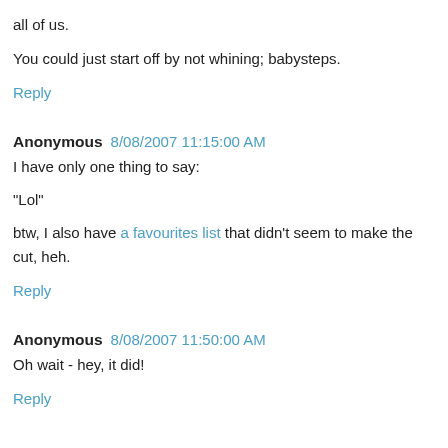all of us.
You could just start off by not whining; babysteps.
Reply
Anonymous 8/08/2007 11:15:00 AM
I have only one thing to say:
"Lol"
btw, I also have a favourites list that didn't seem to make the cut, heh.
Reply
Anonymous 8/08/2007 11:50:00 AM
Oh wait - hey, it did!
Reply